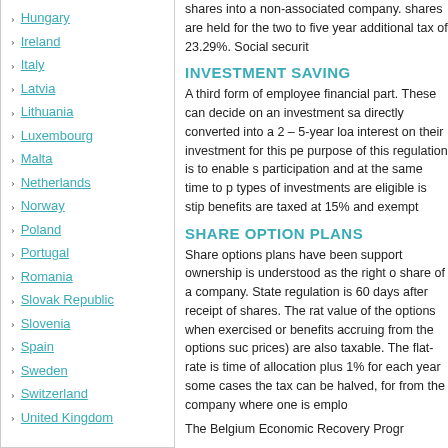Hungary
Ireland
Italy
Latvia
Lithuania
Luxembourg
Malta
Netherlands
Norway
Poland
Portugal
Romania
Slovak Republic
Slovenia
Spain
Sweden
Switzerland
United Kingdom
shares into a non-associated company. shares are held for the two to five year additional tax of 23.29%. Social securit
INVESTMENT SAVING
A third form of employee financial part. These can decide on an investment sa directly converted into a 2 – 5-year loa interest on their investment for this pe purpose of this regulation is to enable s participation and at the same time to p types of investments are eligible is stip benefits are taxed at 15% and exempt
SHARE OPTION PLANS
Share options plans have been support ownership is understood as the right o share of a company. State regulation is 60 days after receipt of shares. The rat value of the options when exercised or benefits accruing from the options suc prices) are also taxable. The flat-rate is time of allocation plus 1% for each year some cases the tax can be halved, for from the company where one is emplo
The Belgium Economic Recovery Progr